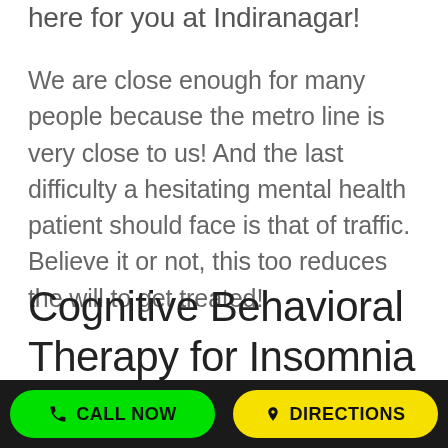here for you at Indiranagar!
We are close enough for many people because the metro line is very close to us! And the last difficulty a hesitating mental health patient should face is that of traffic. Believe it or not, this too reduces the will to get treated!
Cognitive Behavioral Therapy for Insomnia
There
CALL NOW   DIRECTIONS